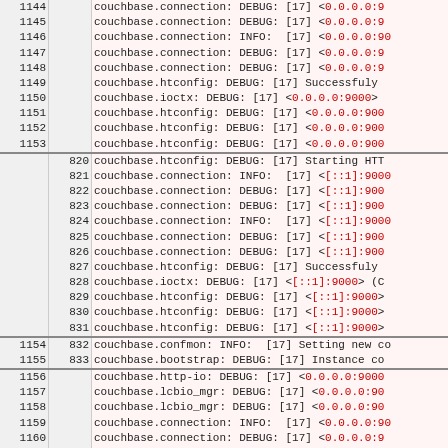| line_left | line_right | message |
| --- | --- | --- |
| 1144 |  | couchbase.connection: DEBUG: [17] <0.0.0.0:9 |
| 1145 |  | couchbase.connection: DEBUG: [17] <0.0.0.0:9 |
| 1146 |  | couchbase.connection: INFO:  [17] <0.0.0.0:90 |
| 1147 |  | couchbase.connection: DEBUG: [17] <0.0.0.0:9 |
| 1148 |  | couchbase.connection: DEBUG: [17] <0.0.0.0:9 |
| 1149 |  | couchbase.htconfig: DEBUG: [17] Successfuly |
| 1150 |  | couchbase.ioctx: DEBUG: [17] <0.0.0.0:9000> |
| 1151 |  | couchbase.htconfig: DEBUG: [17] <0.0.0.0:900 |
| 1152 |  | couchbase.htconfig: DEBUG: [17] <0.0.0.0:900 |
| 1153 |  | couchbase.htconfig: DEBUG: [17] <0.0.0.0:900 |
|  | 820 | couchbase.htconfig: DEBUG: [17] Starting HTT |
|  | 821 | couchbase.connection: INFO:  [17] <[::1]:9000 |
|  | 822 | couchbase.connection: DEBUG: [17] <[::1]:900 |
|  | 823 | couchbase.connection: DEBUG: [17] <[::1]:900 |
|  | 824 | couchbase.connection: INFO:  [17] <[::1]:9000 |
|  | 825 | couchbase.connection: DEBUG: [17] <[::1]:900 |
|  | 826 | couchbase.connection: DEBUG: [17] <[::1]:900 |
|  | 827 | couchbase.htconfig: DEBUG: [17] Successfuly |
|  | 828 | couchbase.ioctx: DEBUG: [17] <[::1]:9000> (C |
|  | 829 | couchbase.htconfig: DEBUG: [17] <[::1]:9000> |
|  | 830 | couchbase.htconfig: DEBUG: [17] <[::1]:9000> |
|  | 831 | couchbase.htconfig: DEBUG: [17] <[::1]:9000> |
| 1154 | 832 | couchbase.confmon: INFO:  [17] Setting new co |
| 1155 | 833 | couchbase.bootstrap: DEBUG: [17] Instance co |
| 1156 |  | couchbase.http-io: DEBUG: [17] <0.0.0.0:9000 |
| 1157 |  | couchbase.lcbio_mgr: DEBUG: [17] <0.0.0.0:90 |
| 1158 |  | couchbase.lcbio_mgr: DEBUG: [17] <0.0.0.0:90 |
| 1159 |  | couchbase.connection: INFO:  [17] <0.0.0.0:90 |
| 1160 |  | couchbase.connection: DEBUG: [17] <0.0.0.0:9 |
| 1161 |  | couchbase.connection: DEBUG: <0.0.0.0 |